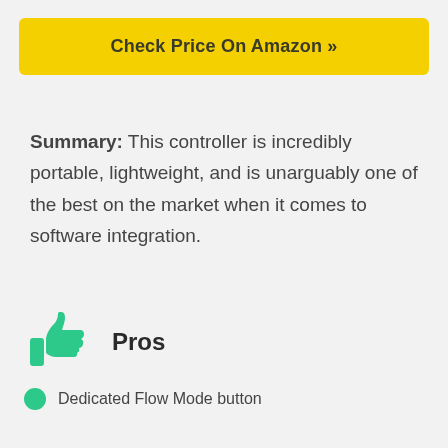[Figure (other): Yellow button with text 'Check Price On Amazon >>']
Summary: This controller is incredibly portable, lightweight, and is unarguably one of the best on the market when it comes to software integration.
Pros
Dedicated Flow Mode button